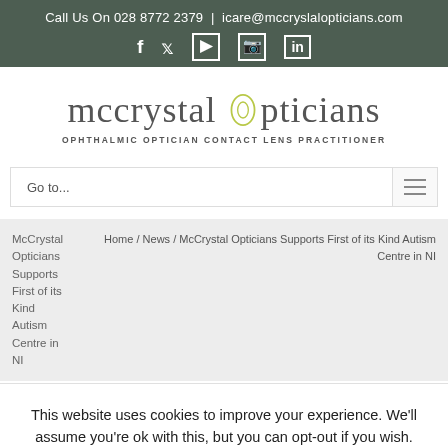Call Us On 028 8772 2379  |  icare@mccryslalopticians.com
[Figure (infographic): Social media icons: Facebook, Twitter, YouTube, Instagram, LinkedIn on dark green background]
[Figure (logo): McCrystal Opticians logo with stylized eye replacing the letter 'o', subtitle: OPHTHALMIC OPTICIAN CONTACT LENS PRACTITIONER]
Go to...
McCrystal Opticians Supports First of its Kind Autism Centre in NI
Home / News / McCrystal Opticians Supports First of its Kind Autism Centre in NI
This website uses cookies to improve your experience. We'll assume you're ok with this, but you can opt-out if you wish.
Accept
Read More